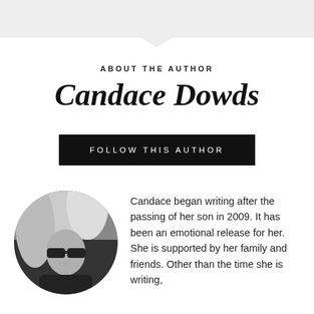[Figure (illustration): Grey chevron/arrow banner at the top of the page pointing downward]
ABOUT THE AUTHOR
Candace Dowds
FOLLOW THIS AUTHOR
[Figure (photo): Circular black and white photo of a woman with long light-colored hair wearing dark sunglasses]
Candace began writing after the passing of her son in 2009. It has been an emotional release for her. She is supported by her family and friends. Other than the time she is writing,